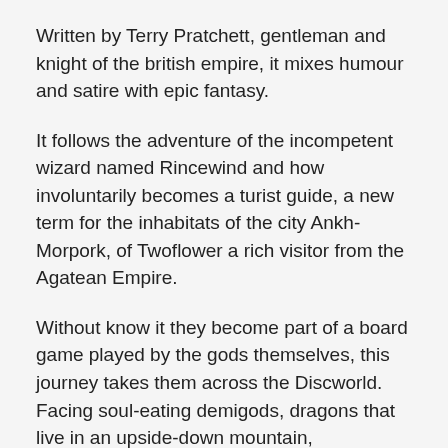Written by Terry Pratchett, gentleman and knight of the british empire, it mixes humour and satire with epic fantasy.
It follows the adventure of the incompetent wizard named Rincewind and how involuntarily becomes a turist guide, a new term for the inhabitats of the city Ankh-Morpork, of Twoflower a rich visitor from the Agatean Empire.
Without know it they become part of a board game played by the gods themselves, this journey takes them across the Discworld. Facing soul-eating demigods, dragons that live in an upside-down mountain, hydrophobic wizards and almost being cast-out of this flat world in order to know the sex of the turtle that’s carrying it.
In all is an amazingly written and funny book. It